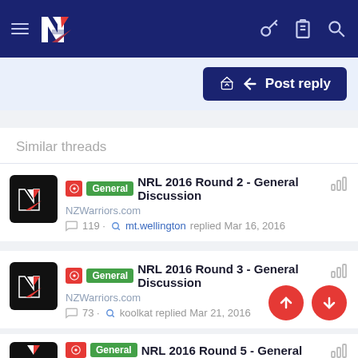NZWarriors.com navigation header
Post reply
Similar threads
NRL 2016 Round 2 - General Discussion | NZWarriors.com | 119 · mt.wellington replied Mar 16, 2016
NRL 2016 Round 3 - General Discussion | NZWarriors.com | 73 · koolkat replied Mar 21, 2016
NRL 2016 Round 5 - General